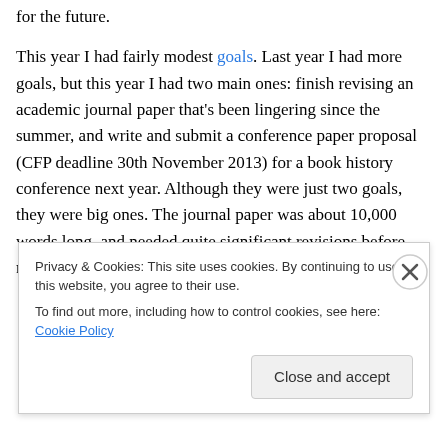for the future.
This year I had fairly modest goals. Last year I had more goals, but this year I had two main ones: finish revising an academic journal paper that’s been lingering since the summer, and write and submit a conference paper proposal (CFP deadline 30th November 2013) for a book history conference next year. Although they were just two goals, they were big ones. The journal paper was about 10,000 words long, and needed quite significant revisions before resubmission, and that couldn’t be done in a hurry.
Privacy & Cookies: This site uses cookies. By continuing to use this website, you agree to their use. To find out more, including how to control cookies, see here: Cookie Policy